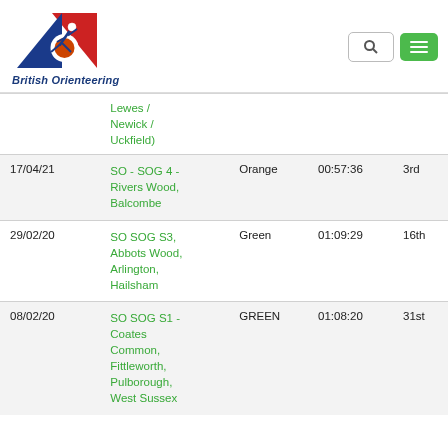[Figure (logo): British Orienteering logo with running figure and red/blue triangles, with italic bold text 'British Orienteering' below]
[Figure (screenshot): Search box icon and green hamburger menu button in header]
| Date | Event | Course | Time | Position |
| --- | --- | --- | --- | --- |
|  | Lewes / Newick / Uckfield) |  |  |  |
| 17/04/21 | SO - SOG 4 - Rivers Wood, Balcombe | Orange | 00:57:36 | 3rd |
| 29/02/20 | SO SOG S3, Abbots Wood, Arlington, Hailsham | Green | 01:09:29 | 16th |
| 08/02/20 | SO SOG S1 - Coates Common, Fittleworth, Pulborough, West Sussex | GREEN | 01:08:20 | 31st |